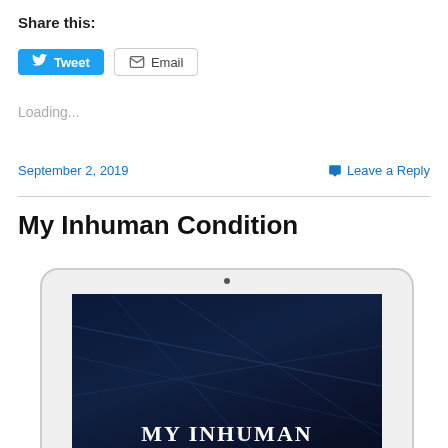Share this:
[Figure (screenshot): Tweet and Email share buttons]
Loading...
September 2, 2019
Leave a Reply
My Inhuman Condition
[Figure (illustration): Tablet device showing book cover for 'My Inhuman Condition' with dark blue background and white serif text reading MY INHUMAN CONDITION]